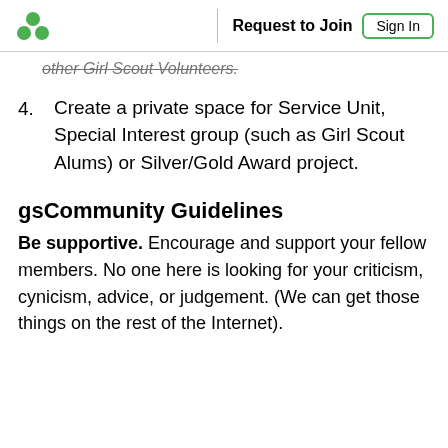Request to Join | Sign In
other Girl Scout Volunteers.
4. Create a private space for Service Unit, Special Interest group (such as Girl Scout Alums) or Silver/Gold Award project.
gsCommunity Guidelines
Be supportive. Encourage and support your fellow members. No one here is looking for your criticism, cynicism, advice, or judgement. (We can get those things on the rest of the Internet).